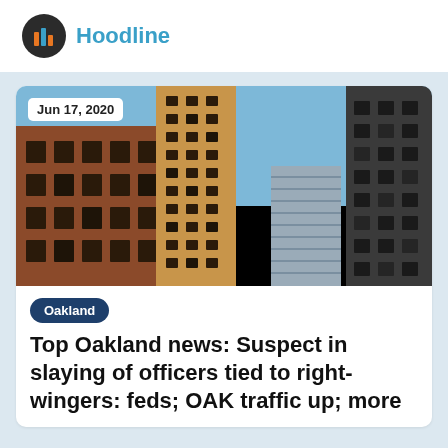Hoodline
[Figure (photo): Upward-angle photograph of Oakland downtown buildings including a tall historic tower and modern skyscrapers against a blue sky, dated Jun 17, 2020]
Oakland
Top Oakland news: Suspect in slaying of officers tied to right-wingers: feds; OAK traffic up; more